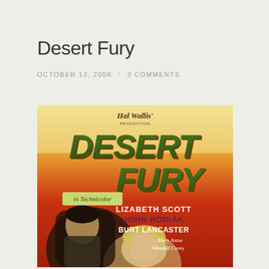Desert Fury
OCTOBER 13, 2008 / 3 COMMENTS
[Figure (illustration): Movie poster for Desert Fury (1947). Red/orange background. Title 'Desert Fury' in large stylized green lettering with brown shadow. Top reads 'Hal Wallis' Production'. Badge says 'In Technicolor'. Cast listed: LIZABETH SCOTT, JOHN HODIAK, BURT LANCASTER, ...Mary Astor, Wendell Corey. Two figures in foreground — a man in suit looking down at a blonde woman.]